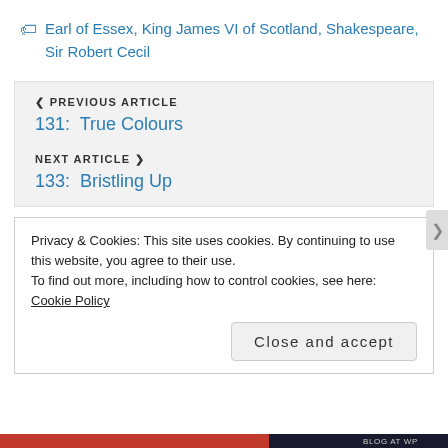Earl of Essex, King James VI of Scotland, Shakespeare, Sir Robert Cecil
< PREVIOUS ARTICLE
131:  True Colours
NEXT ARTICLE >
133:  Bristling Up
Privacy & Cookies: This site uses cookies. By continuing to use this website, you agree to their use.
To find out more, including how to control cookies, see here: Cookie Policy
Close and accept